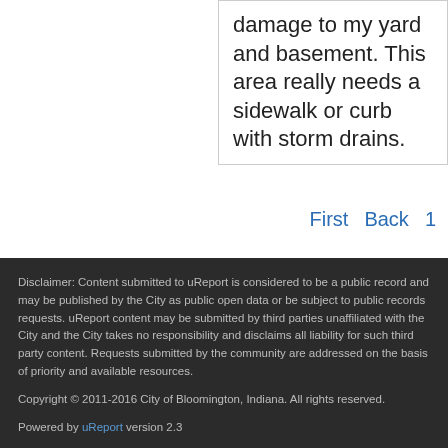damage to my yard and basement. This area really needs a sidewalk or curb with storm drains.
First   Back   1
Disclaimer: Content submitted to uReport is considered to be a public record and may be published by the City as public open data or be subject to public records requests. uReport content may be submitted by third parties unaffiliated with the City and the City takes no responsibility and disclaims all liability for such third party content. Requests submitted by the community are addressed on the basis of priority and available resources.
Copyright © 2011-2016 City of Bloomington, Indiana. All rights reserved.
Powered by uReport version 2.3
This application is free software; you can redistribute it and/or modify it under the terms of the GNU Affero General Public License